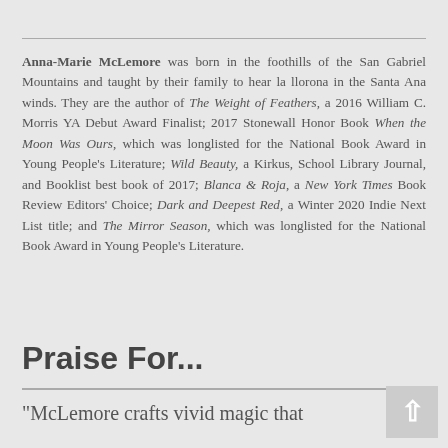Anna-Marie McLemore was born in the foothills of the San Gabriel Mountains and taught by their family to hear la llorona in the Santa Ana winds. They are the author of The Weight of Feathers, a 2016 William C. Morris YA Debut Award Finalist; 2017 Stonewall Honor Book When the Moon Was Ours, which was longlisted for the National Book Award in Young People's Literature; Wild Beauty, a Kirkus, School Library Journal, and Booklist best book of 2017; Blanca & Roja, a New York Times Book Review Editors' Choice; Dark and Deepest Red, a Winter 2020 Indie Next List title; and The Mirror Season, which was longlisted for the National Book Award in Young People's Literature.
Praise For...
"McLemore crafts vivid magic that